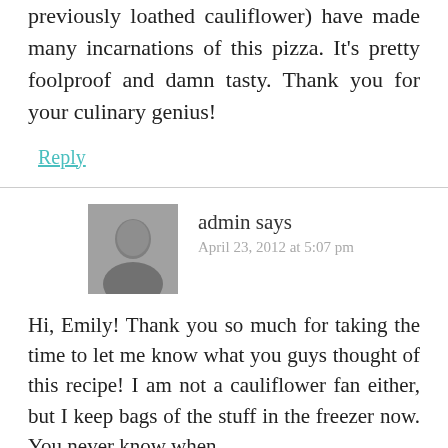previously loathed cauliflower) have made many incarnations of this pizza. It's pretty foolproof and damn tasty. Thank you for your culinary genius!
Reply
admin says
April 23, 2012 at 5:07 pm
[Figure (photo): Black and white avatar photo of admin user]
Hi, Emily! Thank you so much for taking the time to let me know what you guys thought of this recipe! I am not a cauliflower fan either, but I keep bags of the stuff in the freezer now. You never know when